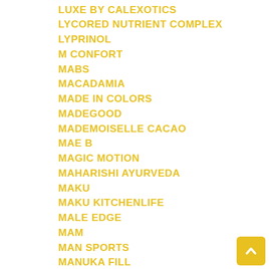LUXE BY CALEXOTICS
LYCORED NUTRIENT COMPLEX
LYPRINOL
M CONFORT
MABS
MACADAMIA
MADE IN COLORS
MADEGOOD
MADEMOISELLE CACAO
MAE B
MAGIC MOTION
MAHARISHI AYURVEDA
MAKU
MAKU KITCHENLIFE
MALE EDGE
MAM
MAN SPORTS
MANUKA FILL
MANUKA LAB
MARC ANTHONY
MARC JACOBS
MARJUKKA
MARUS